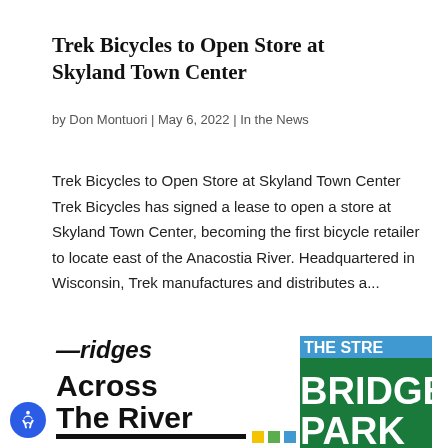Trek Bicycles to Open Store at Skyland Town Center
by Don Montuori | May 6, 2022 | In the News
Trek Bicycles to Open Store at Skyland Town Center Trek Bicycles has signed a lease to open a store at Skyland Town Center, becoming the first bicycle retailer to locate east of the Anacostia River. Headquartered in Wisconsin, Trek manufactures and distributes a...
[Figure (illustration): Partially visible graphic showing text 'Bridges Across The River' on the left side in black bold text, and 'BRIDGE PARK' text on a green background on the right side, with colored squares (yellow, green, blue) at the bottom.]